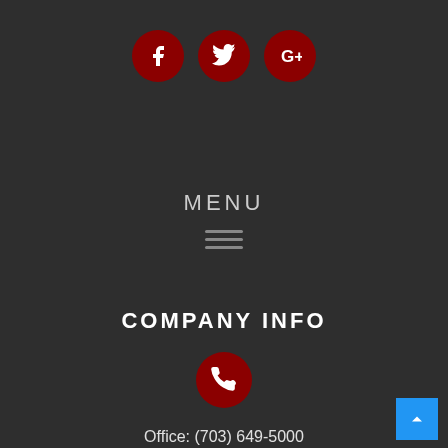[Figure (infographic): Three dark red circular social media icon buttons: Facebook (f), Twitter (bird), Google+ (G+)]
MENU
[Figure (infographic): Hamburger menu icon (three horizontal lines)]
COMPANY INFO
[Figure (infographic): Dark red circular phone/call icon]
Office: (703) 649-5000
Phone: (202) 683-4292
Fax: (703) 649-6000
[Figure (infographic): Blue back-to-top arrow button in bottom right corner]